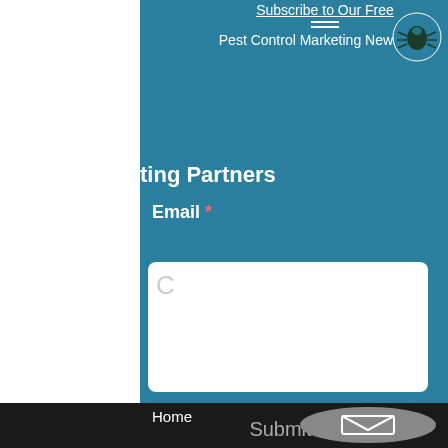Subscribe to Our Free Pest Control Marketing Newsletter
ontrol Marketing Partners
Email *
Submit
Home
[Figure (logo): Pest control company logo with insect graphic]
[Figure (other): Email envelope icon in gray oval button in black footer bar]